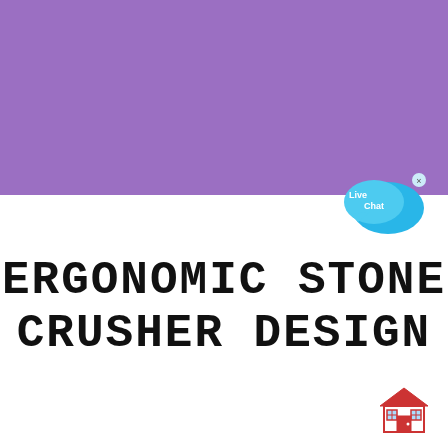[Figure (illustration): Purple rectangular banner occupying the top half of the page]
[Figure (illustration): Live Chat speech bubble icon in cyan/blue, with a small x close button, positioned at the transition between purple and white sections]
ERGONOMIC STONE CRUSHER DESIGN
[Figure (illustration): Small red house/building emoji icon in the bottom right corner]